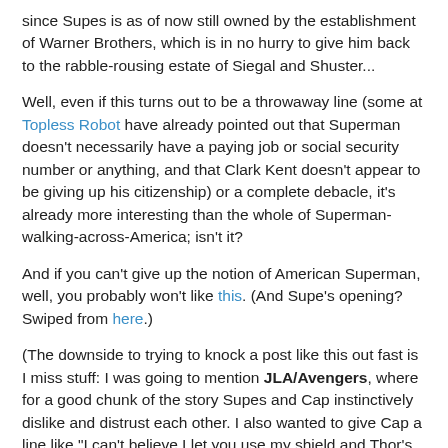since Supes is as of now still owned by the establishment of Warner Brothers, which is in no hurry to give him back to the rabble-rousing estate of Siegal and Shuster...
Well, even if this turns out to be a throwaway line (some at Topless Robot have already pointed out that Superman doesn't necessarily have a paying job or social security number or anything, and that Clark Kent doesn't appear to be giving up his citizenship) or a complete debacle, it's already more interesting than the whole of Superman-walking-across-America; isn't it?
And if you can't give up the notion of American Superman, well, you probably won't like this. (And Supe's opening? Swiped from here.)
(The downside to trying to knock a post like this out fast is I miss stuff: I was going to mention JLA/Avengers, where for a good chunk of the story Supes and Cap instinctively dislike and distrust each other. I also wanted to give Cap a line like "I can't believe I let you use my shield and Thor's hammer." Thor is pretty much here to undermine Cap: back in the